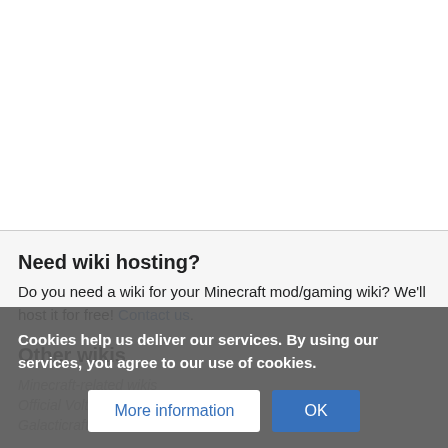Need wiki hosting?
Do you need a wiki for your Minecraft mod/gaming wiki? We'll host it for free! Contact us.
Other wikis
Minecraft-related wikis
Official Voltz Wiki
Galacticraft Wiki
Cookies help us deliver our services. By using our services, you agree to our use of cookies.